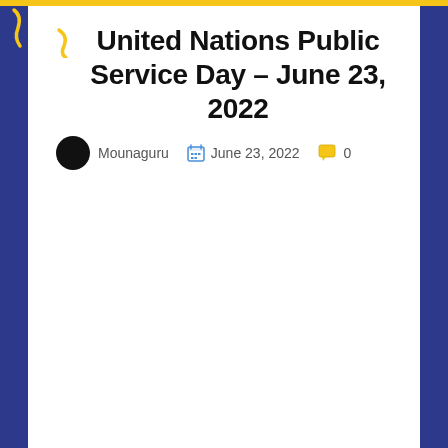United Nations Public Service Day – June 23, 2022
Mounaguru   June 23, 2022   0